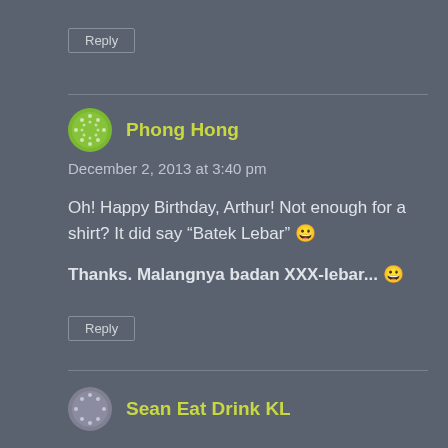Reply
Phong Hong
December 2, 2013 at 3:40 pm
Oh! Happy Birthday, Arthur! Not enough for a shirt? It did say “Batek Lebar” 😀
Thanks. Malangnya badan XXX-lebar... 😀
Reply
Sean Eat Drink KL